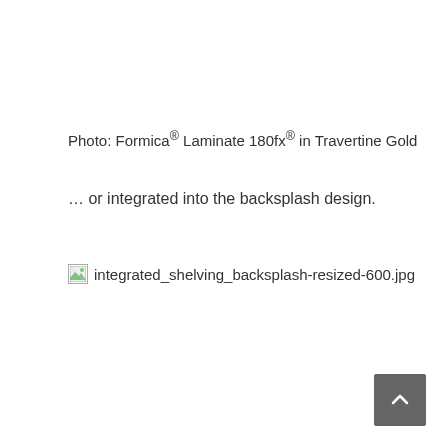Photo: Formica® Laminate 180fx® in Travertine Gold
… or integrated into the backsplash design.
[Figure (photo): Broken image placeholder for integrated_shelving_backsplash-resized-600.jpg]
[Figure (other): Back to top button — grey square with upward chevron arrow]